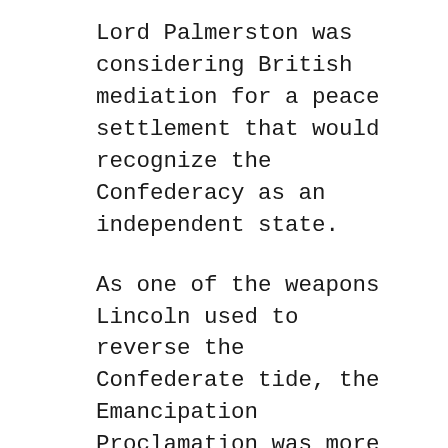Lord Palmerston was considering British mediation for a peace settlement that would recognize the Confederacy as an independent state.
As one of the weapons Lincoln used to reverse the Confederate tide, the Emancipation Proclamation was more controversial than is commonly supposed. Major General George McClellan, among other prominent Union leaders, believed it was a deliberate attempt to incite a slave rebellion in the South. Europe more readily accepted his interpretation, where it was feared the proclamation might trigger a genocidal race war in other parts of the Western Hemisphere thereby disrupting the Atlantic trade. Finally, even President Lincoln admitted the possibility that it might provoke such insurrections in the South